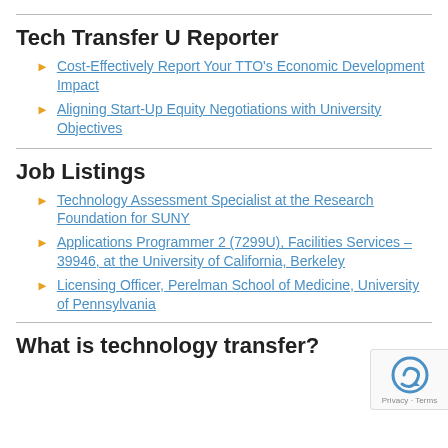Tech Transfer U Reporter
Cost-Effectively Report Your TTO's Economic Development Impact
Aligning Start-Up Equity Negotiations with University Objectives
Job Listings
Technology Assessment Specialist at the Research Foundation for SUNY
Applications Programmer 2 (7299U), Facilities Services – 39946, at the University of California, Berkeley
Licensing Officer, Perelman School of Medicine, University of Pennsylvania
What is technology transfer?